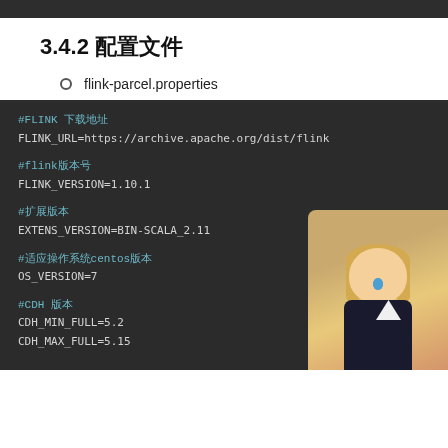3.4.2 配置文件
flink-parcel.properties
[Figure (screenshot): Dark-themed code block showing flink-parcel.properties configuration file content with comments and key-value pairs: #FLINK 下载地址, FLINK_URL=https://archive.apache.org/dist/flink, #flink版本号, FLINK_VERSION=1.10.1, #扩展版本, EXTENS_VERSION=BIN-SCALA_2.11, #适应操作系统centos版本, OS_VERSION=7, #CDH 版本, CDH_MIN_FULL=5.2, CDH_MAX_FULL=5.15, with an anime character image in the bottom right corner.]